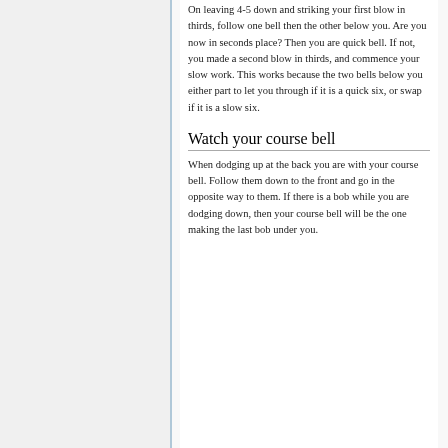On leaving 4-5 down and striking your first blow in thirds, follow one bell then the other below you. Are you now in seconds place? Then you are quick bell. If not, you made a second blow in thirds, and commence your slow work. This works because the two bells below you either part to let you through if it is a quick six, or swap if it is a slow six.
Watch your course bell
When dodging up at the back you are with your course bell. Follow them down to the front and go in the opposite way to them. If there is a bob while you are dodging down, then your course bell will be the one making the last bob under you.